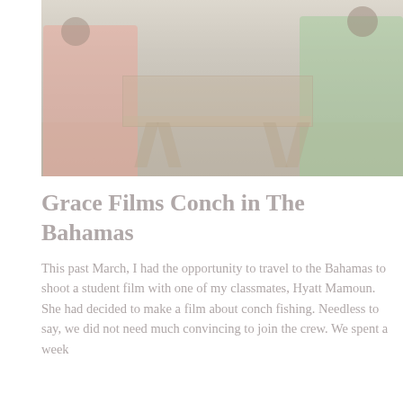[Figure (photo): Washed-out photo showing people standing around a wooden table outdoors, appearing to work with conch or fish. One person wears a pink/coral shirt on the left, another wears a green shirt on the right. The scene appears to be in the Bahamas.]
Grace Films Conch in The Bahamas
This past March, I had the opportunity to travel to the Bahamas to shoot a student film with one of my classmates, Hyatt Mamoun. She had decided to make a film about conch fishing. Needless to say, we did not need much convincing to join the crew. We spent a week